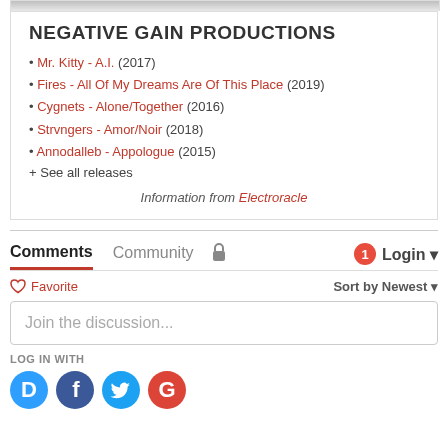[Figure (photo): Top image strip/banner (partial, cropped at top of page)]
NEGATIVE GAIN PRODUCTIONS
Mr. Kitty - A.I. (2017)
Fires - All Of My Dreams Are Of This Place (2019)
Cygnets - Alone/Together (2016)
Strvngers - Amor/Noir (2018)
Annodalleb - Appologue (2015)
+ See all releases
Information from Electroracle
Comments  Community  [lock icon]  [1 badge]  Login
♡ Favorite   Sort by Newest
Join the discussion...
LOG IN WITH
[Figure (logo): Social login icons: Disqus (D), Facebook (f), Twitter bird, Google (G)]